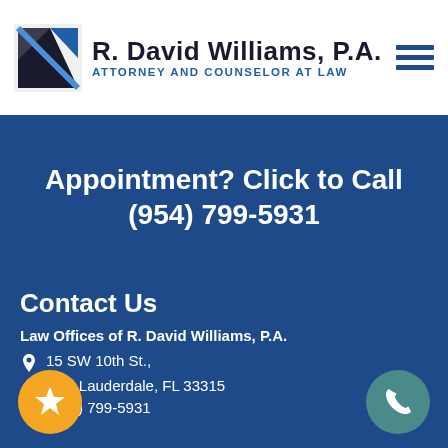[Figure (logo): R. David Williams, P.A. law firm logo with black and blue shield/arrow icon and firm name]
Appointment? Click to Call
(954) 799-5931
Contact Us
Law Offices of R. David Williams, P.A.
15 SW 10th St., Fort Lauderdale, FL 33315
(954) 799-5931